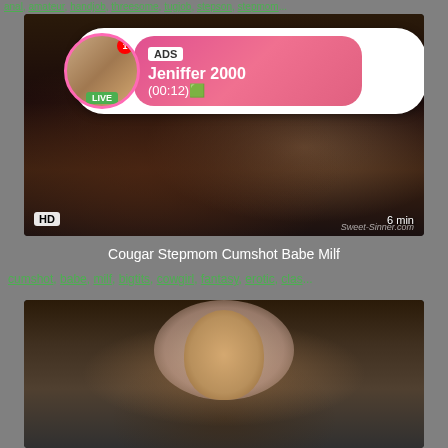anal, amateur, handjob, threesome, tugjob, stepson, stepmom...
[Figure (screenshot): Video thumbnail showing adult content with HD badge, 6 min duration, Sweet-Sinner.com watermark, with ad overlay showing profile avatar with LIVE badge, notification dot, and pink gradient box with ADS label, 'Jeniffer 2000', '(00:12)' text]
Cougar Stepmom Cumshot Babe Milf
cumshot, babe, milf, bigtits, cowgirl, fantasy, erotic, clas...
[Figure (screenshot): Second video thumbnail showing adult content featuring a person wearing a hijab/headscarf in a kitchen setting]